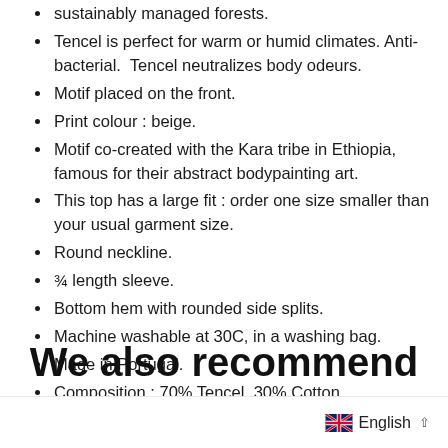sustainably managed forests.
Tencel is perfect for warm or humid climates. Anti-bacterial.  Tencel neutralizes body odeurs.
Motif placed on the front.
Print colour : beige.
Motif co-created with the Kara tribe in Ethiopia, famous for their abstract bodypainting art.
This top has a large fit : order one size smaller than your usual garment size.
Round neckline.
¾ length sleeve.
Bottom hem with rounded side splits.
Machine washable at 30C, in a washing bag.
Made in Portugal.
Composition : 70% Tencel, 30% Cotton.
We also recommend
English